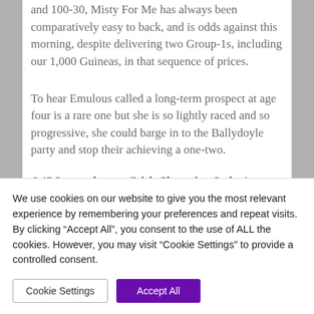and 100-30, Misty For Me has always been comparatively easy to back, and is odds against this morning, despite delivering two Group-1s, including our 1,000 Guineas, in that sequence of prices.
To hear Emulous called a long-term prospect at age four is a rare one but she is so lightly raced and so progressive, she could barge in to the Ballydoyle party and stop their achieving a one-two.
6.45 Leopardstown (Irish Champion Stakes):
We use cookies on our website to give you the most relevant experience by remembering your preferences and repeat visits. By clicking "Accept All", you consent to the use of ALL the cookies. However, you may visit "Cookie Settings" to provide a controlled consent.